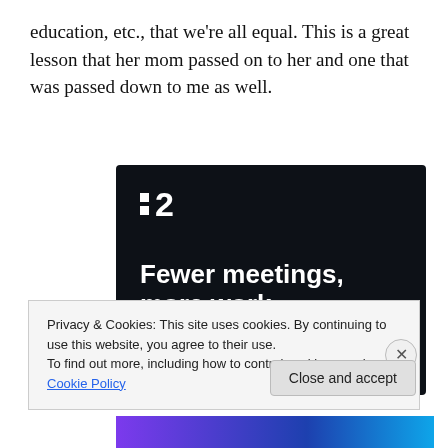education, etc., that we're all equal. This is a great lesson that her mom passed on to her and one that was passed down to me as well.
[Figure (other): Advertisement for a project management tool showing a dark navy background with the app logo (two squares and the number 2), the tagline 'Fewer meetings, more work.' in large white bold text, and a 'Get started for free' button with a rounded outline.]
Privacy & Cookies: This site uses cookies. By continuing to use this website, you agree to their use.
To find out more, including how to control cookies, see here: Cookie Policy
Close and accept